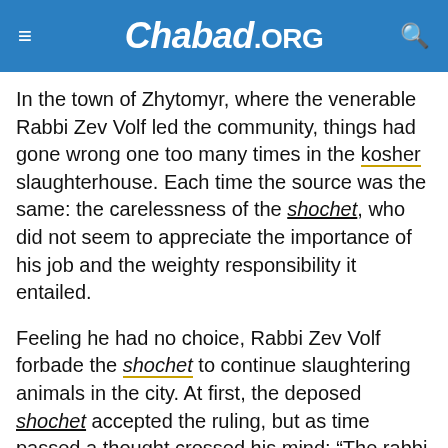Chabad.ORG
In the town of Zhytomyr, where the venerable Rabbi Zev Volf led the community, things had gone wrong one too many times in the kosher slaughterhouse. Each time the source was the same: the carelessness of the shochet, who did not seem to appreciate the importance of his job and the weighty responsibility it entailed.
Feeling he had no choice, Rabbi Zev Volf forbade the shochet to continue slaughtering animals in the city. At first, the deposed shochet accepted the ruling, but as time passed a thought crossed his mind: “The rabbi only revoked permission to slaughter in the city of